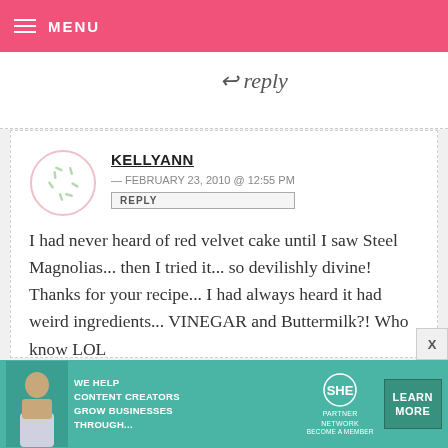MENU
↩ reply
KELLYANN — FEBRUARY 23, 2010 @ 12:55 PM
REPLY

I had never heard of red velvet cake until I saw Steel Magnolias... then I tried it... so devilishly divine! Thanks for your recipe... I had always heard it had weird ingredients... VINEGAR and Buttermilk?! Who know LOL

I have a freind who made one once
[Figure (other): Advertisement banner: WE HELP CONTENT CREATORS GROW BUSINESSES THROUGH... SHE PARTNER NETWORK BECOME A MEMBER LEARN MORE]